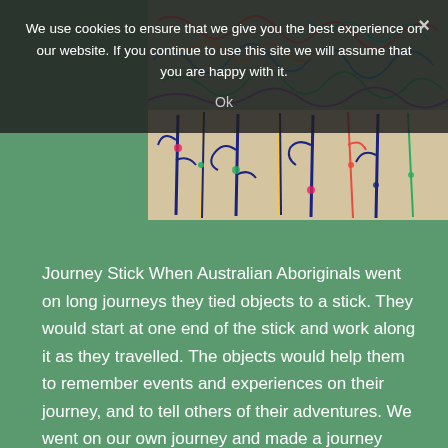We use cookies to ensure that we give you the best experience on our website. If you continue to use this site we will assume that you are happy with it.
Ok
[Figure (photo): Top half: colorful hand-drawn lines on a map background. Bottom half: colorful yarn/string pieces arranged on a light surface resembling journey sticks.]
Journey Stick When Australian Aboriginals went on long journeys they tied objects to a stick. They would start at one end of the stick and work along it as they travelled. The objects would help them to remember events and experiences on their journey, and to tell others of their adventures. We went on our own journey and made a journey stick with a friend.